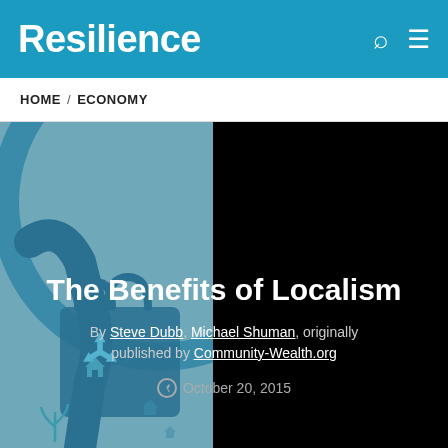Resilience
HOME / ECONOMY
[Figure (illustration): Hero image with teal/blue illustrated background showing a hand holding a shopping bag with recycling/sustainability icons, overlaid with black panel on the right side]
The Benefits of Localism
By Steve Dubb, Michael Shuman, originally published by Community-Wealth.org
October 20, 2015